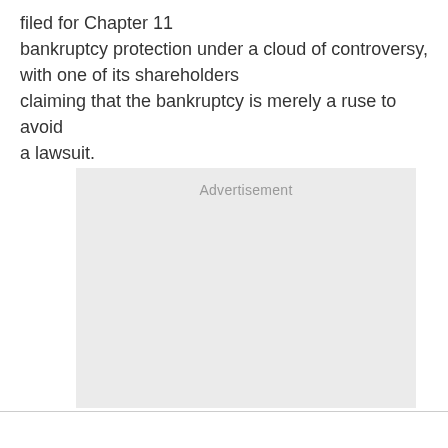filed for Chapter 11 bankruptcy protection under a cloud of controversy, with one of its shareholders claiming that the bankruptcy is merely a ruse to avoid a lawsuit.
[Figure (other): Advertisement placeholder box with light gray background and 'Advertisement' label at the top center]